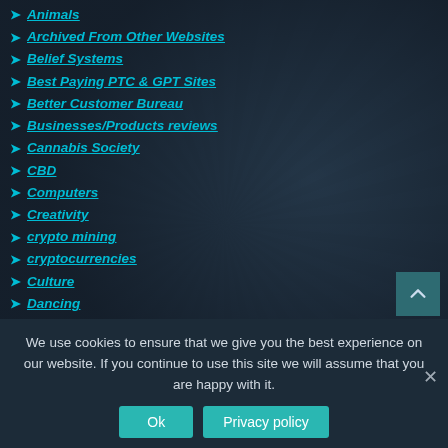Animals
Archived From Other Websites
Belief Systems
Best Paying PTC & GPT Sites
Better Customer Bureau
Businesses/Products reviews
Cannabis Society
CBD
Computers
Creativity
crypto mining
cryptocurrencies
Culture
Dancing
DIY
We use cookies to ensure that we give you the best experience on our website. If you continue to use this site we will assume that you are happy with it.
Ok | Privacy policy